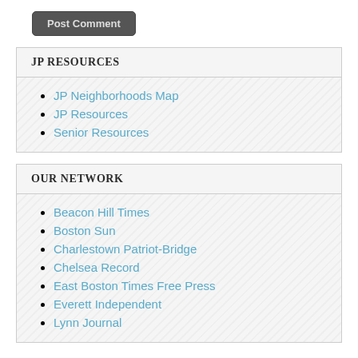[Figure (screenshot): Post Comment button — dark gray rounded rectangle button with text 'Post Comment']
JP RESOURCES
JP Neighborhoods Map
JP Resources
Senior Resources
OUR NETWORK
Beacon Hill Times
Boston Sun
Charlestown Patriot-Bridge
Chelsea Record
East Boston Times Free Press
Everett Independent
Lynn Journal